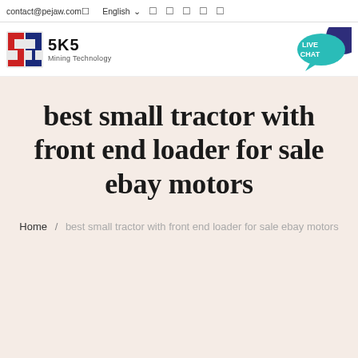contact@pejaw.com  English
[Figure (logo): SKS Mining Technology logo with red and blue S-shaped icon]
[Figure (other): Live Chat bubble button in teal/cyan color]
best small tractor with front end loader for sale ebay motors
Home / best small tractor with front end loader for sale ebay motors